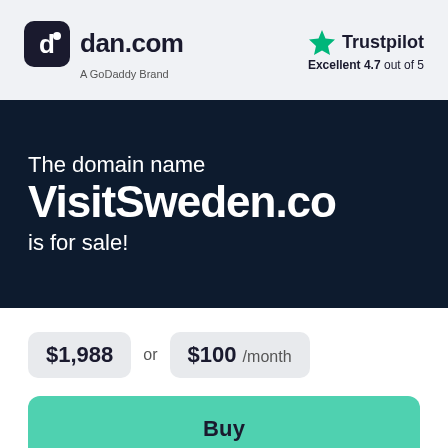[Figure (logo): dan.com logo with dark rounded square icon and text 'dan.com', subtitle 'A GoDaddy Brand']
[Figure (logo): Trustpilot logo with green star and text 'Trustpilot', rating 'Excellent 4.7 out of 5']
The domain name VisitSweden.co is for sale!
$1,988 or $100 /month
Buy